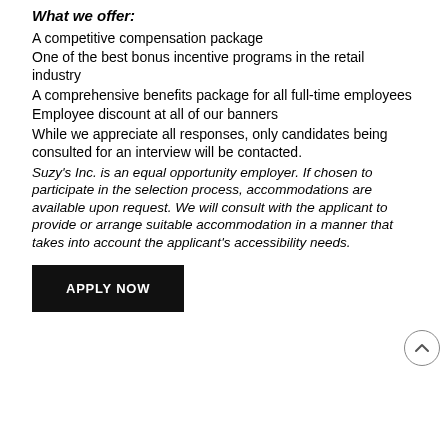What we offer:
A competitive compensation package
One of the best bonus incentive programs in the retail industry
A comprehensive benefits package for all full-time employees
Employee discount at all of our banners
While we appreciate all responses, only candidates being consulted for an interview will be contacted.
Suzy's Inc. is an equal opportunity employer. If chosen to participate in the selection process, accommodations are available upon request. We will consult with the applicant to provide or arrange suitable accommodation in a manner that takes into account the applicant's accessibility needs.
APPLY NOW